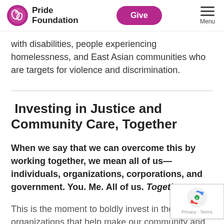Pride Foundation | Give | Menu
with disabilities, people experiencing homelessness, and East Asian communities who are targets for violence and discrimination.
Investing in Justice and Community Care, Together
When we say that we can overcome this by working together, we mean all of us—individuals, organizations, corporations, and government. You. Me. All of us. Together.
This is the moment to boldly invest in the organizations that help make our community and